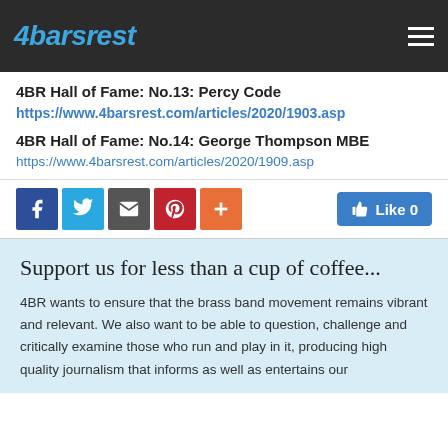4barsrest
4BR Hall of Fame: No.13: Percy Code
https://www.4barsrest.com/articles/2020/1903.asp
4BR Hall of Fame: No.14: George Thompson MBE
https://www.4barsrest.com/articles/2020/1909.asp
[Figure (infographic): Social sharing icons: Facebook, Twitter, Email, Pinterest, Plus button, and a Like 0 button]
Support us for less than a cup of coffee...
4BR wants to ensure that the brass band movement remains vibrant and relevant. We also want to be able to question, challenge and critically examine those who run and play in it, producing high quality journalism that informs as well as entertains our